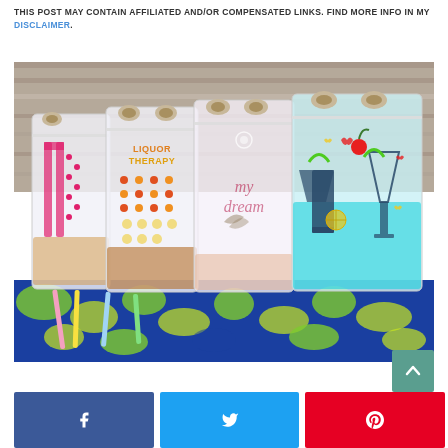THIS POST MAY CONTAIN AFFILIATED AND/OR COMPENSATED LINKS. FIND MORE INFO IN MY DISCLAIMER.
[Figure (photo): Four decorative drink pouches with designs including cocktail graphics, polka dots, and script text, displayed on a colorful tropical-print tablecloth with straws alongside them.]
[Figure (infographic): Social sharing buttons: Facebook (blue), Twitter (light blue), Pinterest (red), and a teal scroll-to-top button with an up arrow.]